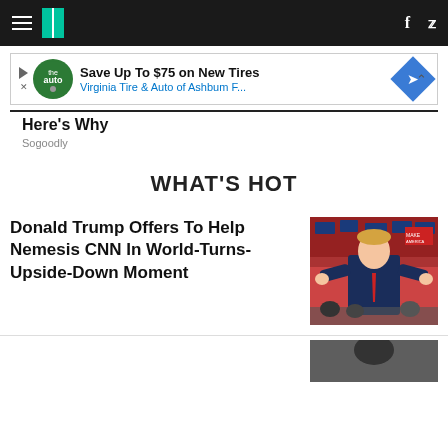HuffPost navigation bar with hamburger menu, logo, Facebook and Twitter icons
[Figure (other): Advertisement banner: Save Up To $75 on New Tires - Virginia Tire & Auto of Ashbum F...]
Here's Why
Sogoodly
WHAT'S HOT
Donald Trump Offers To Help Nemesis CNN In World-Turns-Upside-Down Moment
[Figure (photo): Photo of Donald Trump in a blue suit with red tie at a rally, crowd behind him with signs]
[Figure (photo): Partial photo visible at bottom right of page]